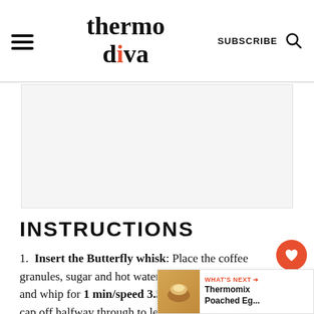thermo diva | SUBSCRIBE
[Figure (other): Advertisement placeholder area, light gray background]
INSTRUCTIONS
Insert the Butterfly whisk: Place the coffee granules, sugar and hot water into the mixing bowl and whip for 1 min/speed 3.5. Take the measuring cap off halfway through to let some in.